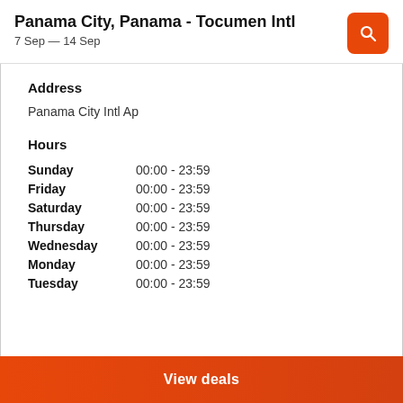Panama City, Panama - Tocumen Intl
7 Sep — 14 Sep
Address
Panama City Intl Ap
Hours
Sunday   00:00 - 23:59
Friday   00:00 - 23:59
Saturday   00:00 - 23:59
Thursday   00:00 - 23:59
Wednesday   00:00 - 23:59
Monday   00:00 - 23:59
Tuesday   00:00 - 23:59
View deals